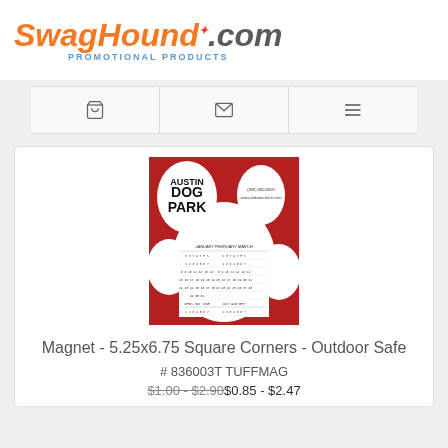[Figure (logo): SwagHound.com Promotional Products logo with orange italic text and blue subtitle]
[Figure (screenshot): Icon toolbar with shopping cart, envelope, and list icons]
[Figure (photo): Magnet product image showing Austin Dog Park paw print design with calendar]
Magnet - 5.25x6.75 Square Corners - Outdoor Safe
# 836003T TUFFMAG
$1.00 - $2.90$0.85 - $2.47